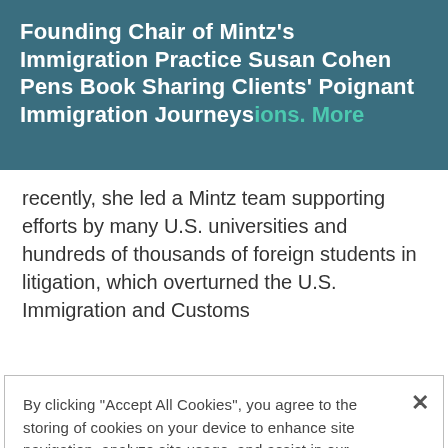Founding Chair of Mintz's Immigration Practice Susan Cohen Pens Book Sharing Clients' Poignant Immigration Journeys
ions. More recently, she led a Mintz team supporting efforts by many U.S. universities and hundreds of thousands of foreign students in litigation, which overturned the U.S. Immigration and Customs
By clicking "Accept All Cookies", you agree to the storing of cookies on your device to enhance site navigation, analyze site usage, and assist in our marketing efforts.
Cookies Settings
Reject All
Accept Cookies